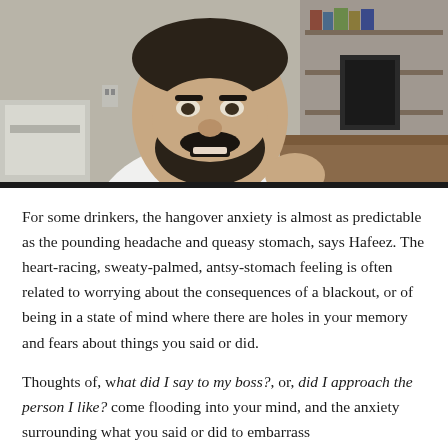[Figure (photo): Screenshot of a man with a beard wearing a white v-neck shirt, speaking to a webcam in what appears to be a home office with shelves, books, and a desk visible in the background.]
For some drinkers, the hangover anxiety is almost as predictable as the pounding headache and queasy stomach, says Hafeez. The heart-racing, sweaty-palmed, antsy-stomach feeling is often related to worrying about the consequences of a blackout, or of being in a state of mind where there are holes in your memory and fears about things you said or did.
Thoughts of, what did I say to my boss?, or, did I approach the person I like? come flooding into your mind, and the anxiety surrounding what you said or did to embarrass